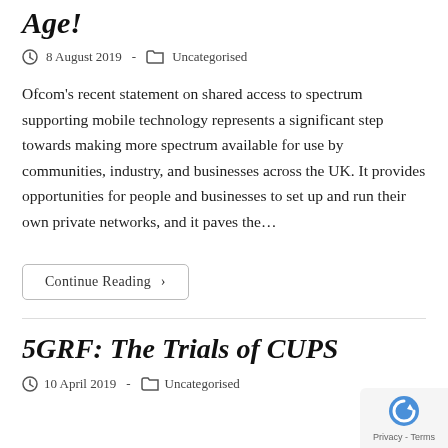Age!
8 August 2019  -  Uncategorised
Ofcom's recent statement on shared access to spectrum supporting mobile technology represents a significant step towards making more spectrum available for use by communities, industry, and businesses across the UK. It provides opportunities for people and businesses to set up and run their own private networks, and it paves the…
Continue Reading >
5GRF: The Trials of CUPS
10 April 2019  -  Uncategorised